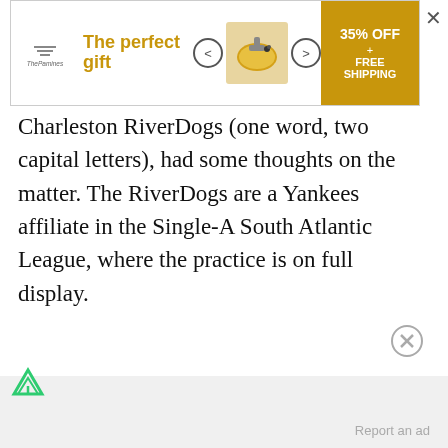[Figure (screenshot): Advertisement banner for The Pamines showing 'The perfect gift' with navigation arrows, product image, and 35% OFF + FREE SHIPPING call to action in gold]
Charleston RiverDogs (one word, two capital letters), had some thoughts on the matter. The RiverDogs are a Yankees affiliate in the Single-A South Atlantic League, where the practice is on full display.
ADVERTISEMENT
[Figure (logo): Freebird ad indicator icon (green triangle/funnel shape)]
[Figure (other): Close ad circle button with X]
Report an ad